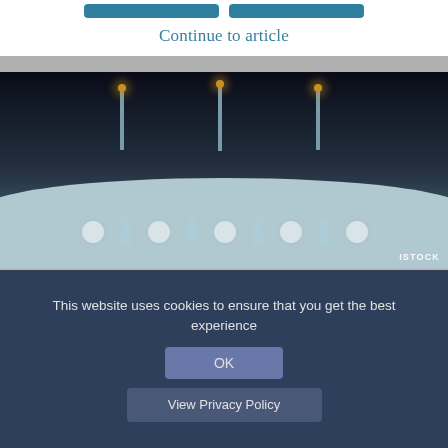[Figure (photo): Wedding reception photo showing a couple at a decorated round table with candelabras, glassware, and floral arrangements. Dark background. ISTOCK watermark in bottom right.]
Continue to article
YOUR wedding. Planned to perfection. That's the goal encouraged by wedding-planning companies. Perfect dress, perfect shoes, cake, flowers, first dance, stationery — everything should be considered in the light of what makes
This website uses cookies to ensure that you get the best experience
OK
View Privacy Policy